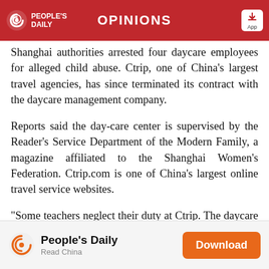OPINIONS
Shanghai authorities arrested four daycare employees for alleged child abuse. Ctrip, one of China's largest travel agencies, has since terminated its contract with the daycare management company.
Reports said the day-care center is supervised by the Reader's Service Department of the Modern Family, a magazine affiliated to the Shanghai Women's Federation. Ctrip.com is one of China's largest online travel service websites.
“Some teachers neglect their duty at Ctrip. The daycare center is managed to a third party, and company executives have established an emergency task force to
People's Daily — Read China — Download